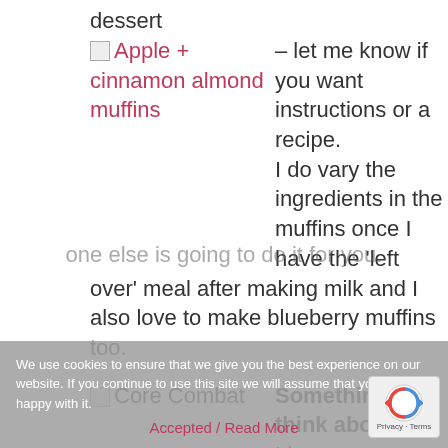dessert
Apple + cinnamon almond muffins – let me know if you want instructions or a recipe. I do vary the ingredients in the muffins once I have the 'left over' meal after making milk and I also love to make blueberry muffins too.
Core Combat Something to think about: I love motivational quotes and thought I'd share some with you here... * Push yourself because no one else is going to do it for you.
We use cookies to ensure that we give you the best experience on our website. If you continue to use this site we will assume that you are happy with it.
Accepted / Read More